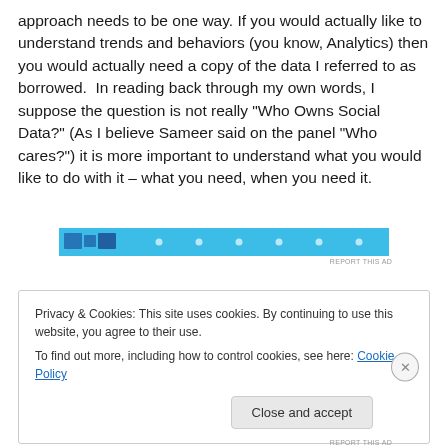approach needs to be one way. If you would actually like to understand trends and behaviors (you know, Analytics) then you would actually need a copy of the data I referred to as borrowed.  In reading back through my own words, I suppose the question is not really "Who Owns Social Data?" (As I believe Sameer said on the panel "Who cares?") it is more important to understand what you would like to do with it – what you need, when you need it.
[Figure (other): Blue advertisement banner with graphic elements and dots]
Privacy & Cookies: This site uses cookies. By continuing to use this website, you agree to their use.
To find out more, including how to control cookies, see here: Cookie Policy